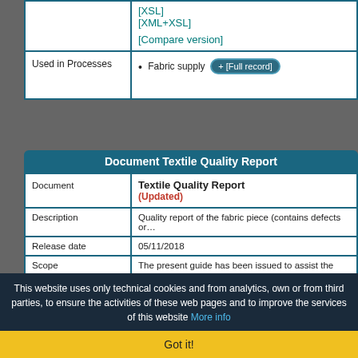|  |  |
| --- | --- |
|  | [XSL]
[XML+XSL]

[Compare version] |
| Used in Processes | • Fabric supply  + [Full record] |
Document Textile Quality Report
|  |  |
| --- | --- |
| Document | Textile Quality Report
(Updated) |
| Description | Quality report of the fabric piece (contains defects or… |
| Release date | 05/11/2018 |
| Scope | The present guide has been issued to assist the co… QUALITY REPORT°, providing all the instructions rec… All the rules required for the construction and val… |
This website uses only technical cookies and from analytics, own or from third parties, to ensure the activities of these web pages and to improve the services of this website More info
Got it!